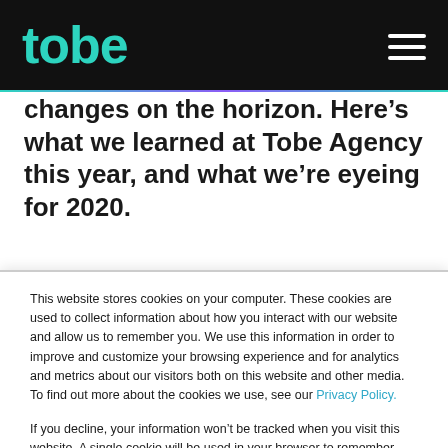tobe [logo] [hamburger menu]
changes on the horizon. Here’s what we learned at Tobe Agency this year, and what we’re eyeing for 2020.
This website stores cookies on your computer. These cookies are used to collect information about how you interact with our website and allow us to remember you. We use this information in order to improve and customize your browsing experience and for analytics and metrics about our visitors both on this website and other media. To find out more about the cookies we use, see our Privacy Policy.
If you decline, your information won’t be tracked when you visit this website. A single cookie will be used in your browser to remember your preference not to be tracked.